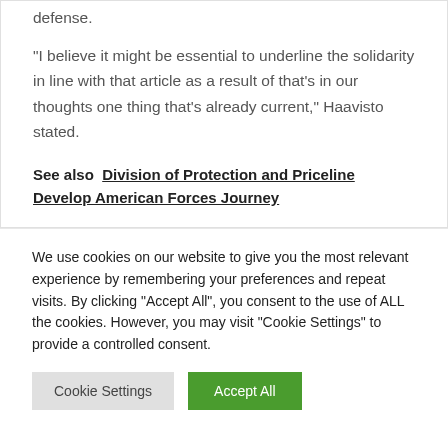defense.
“I believe it might be essential to underline the solidarity in line with that article as a result of that’s in our thoughts one thing that’s already current,” Haavisto stated.
See also  Division of Protection and Priceline Develop American Forces Journey
We use cookies on our website to give you the most relevant experience by remembering your preferences and repeat visits. By clicking “Accept All”, you consent to the use of ALL the cookies. However, you may visit "Cookie Settings" to provide a controlled consent.